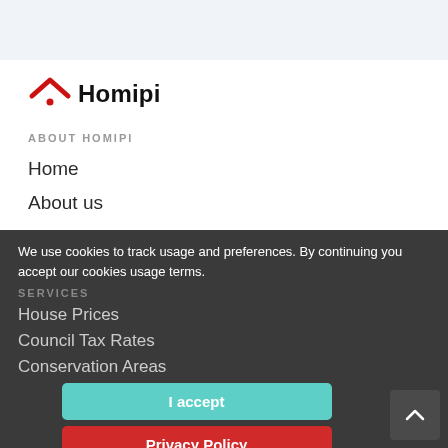[Figure (logo): Homipi logo with red house/chevron icon and bold text 'Homipi']
ABOUT HOMIPI
Home
About us
Contact us
Homipi FAQ
SERVICES
House Prices
Council Tax Rates
Conservation Areas
We use cookies to track usage and preferences. By continuing you accept our cookies usage terms.
I accept
Privacy Policy